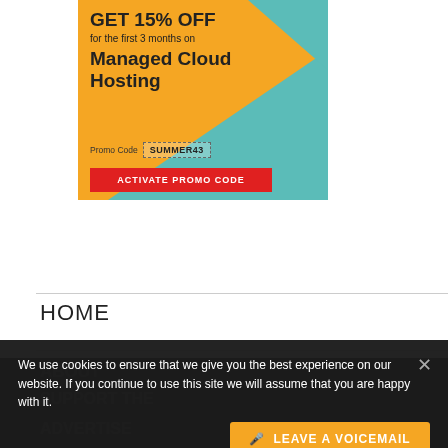[Figure (illustration): Advertisement banner: orange and teal background. Text: GET 15% OFF for the first 3 months on Managed Cloud Hosting. Promo Code SUMMER43. Red button: ACTIVATE PROMO CODE.]
HOME
ABOUT
SUPPORT THE
ADVERTISE
We use cookies to ensure that we give you the best experience on our website. If you continue to use this site we will assume that you are happy with it.
LEAVE A VOICEMAIL